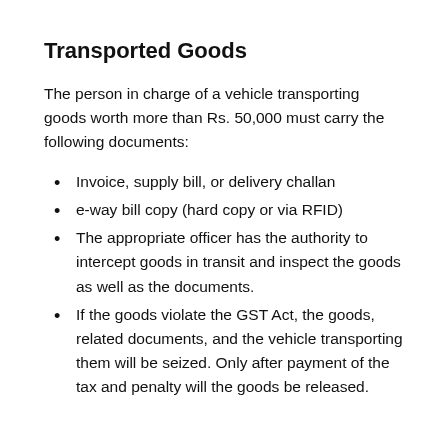Transported Goods
The person in charge of a vehicle transporting goods worth more than Rs. 50,000 must carry the following documents:
Invoice, supply bill, or delivery challan
e-way bill copy (hard copy or via RFID)
The appropriate officer has the authority to intercept goods in transit and inspect the goods as well as the documents.
If the goods violate the GST Act, the goods, related documents, and the vehicle transporting them will be seized. Only after payment of the tax and penalty will the goods be released.